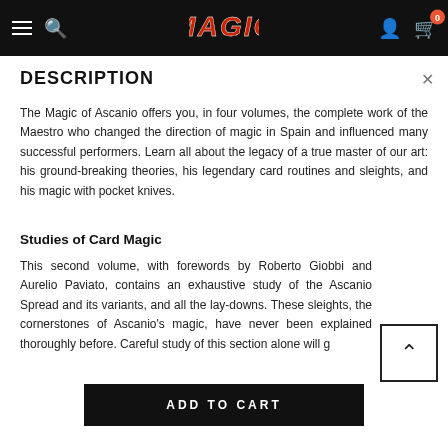MAGIC [logo] navigation bar with hamburger, search, account, cart (0)
DESCRIPTION
The Magic of Ascanio offers you, in four volumes, the complete work of the Maestro who changed the direction of magic in Spain and influenced many successful performers. Learn all about the legacy of a true master of our art: his ground-breaking theories, his legendary card routines and sleights, and his magic with pocket knives.
Studies of Card Magic
This second volume, with forewords by Roberto Giobbi and Aurelio Paviato, contains an exhaustive study of the Ascanio Spread and its variants, and all the lay-downs. These sleights, the cornerstones of Ascanio's magic, have never been explained thoroughly before. Careful study of this section alone will g
ADD TO CART